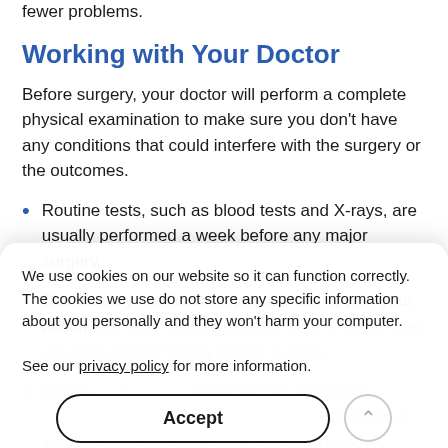fewer problems.
Working with Your Doctor
Before surgery, your doctor will perform a complete physical examination to make sure you don't have any conditions that could interfere with the surgery or the outcomes.
Routine tests, such as blood tests and X-rays, are usually performed a week before any major surgery.
Discuss any medications you are taking with your doctor and your family physician to see which ones you should stop taking before surgery.
Discuss options for preparing for potential blood loss, including donating your own blood, medical interventions and other treatments, prior to surgery.
We use cookies on our website so it can function correctly. The cookies we use do not store any specific information about you personally and they won't harm your computer.

See our privacy policy for more information.